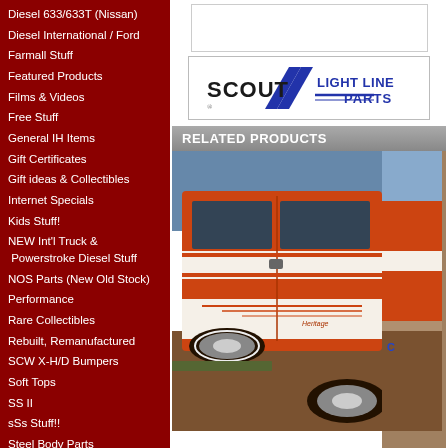Diesel 633/633T (Nissan)
Diesel International / Ford
Farmall Stuff
Featured Products
Films & Videos
Free Stuff
General IH Items
Gift Certificates
Gift ideas & Collectibles
Internet Specials
Kids Stuff!
NEW Int'l Truck & Powerstroke Diesel Stuff
NOS Parts (New Old Stock)
Performance
Rare Collectibles
Rebuilt, Remanufactured
SCW X-H/D Bumpers
Soft Tops
SS II
sSs Stuff!!
Steel Body Parts
Toys
Triple Diamond Stuff!
Used Parts
Vehicle Sales Lot (Currant)
Weather Strip & Seals
Winches & Acc.
Wiring Harness
Zippo!
[Figure (logo): Scout Light Line Parts logo with diagonal blue stripes]
RELATED PRODUCTS
[Figure (photo): Orange and white International Scout vehicle with Heritage decal stripe package, photographed outdoors on dirt ground]